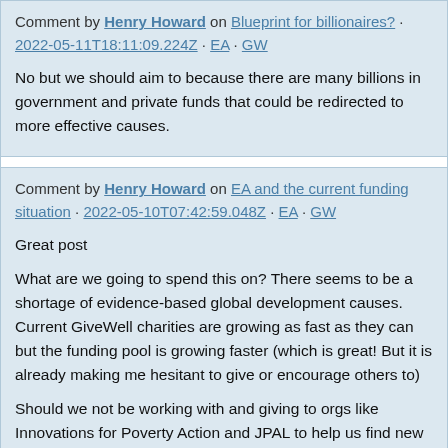Comment by Henry Howard on Blueprint for billionaires? · 2022-05-11T18:11:09.224Z · EA · GW
No but we should aim to because there are many billions in government and private funds that could be redirected to more effective causes.
Comment by Henry Howard on EA and the current funding situation · 2022-05-10T07:42:59.048Z · EA · GW
Great post
What are we going to spend this on? There seems to be a shortage of evidence-based global development causes. Current GiveWell charities are growing as fast as they can but the funding pool is growing faster (which is great! But it is already making me hesitant to give or encourage others to)
Should we not be working with and giving to orgs like Innovations for Poverty Action and JPAL to help us find new